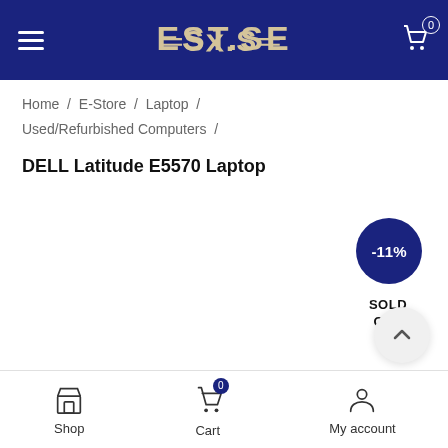EST.SE — hamburger menu, logo, cart icon with badge 0
Home / E-Store / Laptop / Used/Refurbished Computers /
DELL Latitude E5570 Laptop
[Figure (other): Discount badge circle showing -11% in dark blue]
SOLD OUT
Shop | Cart (0) | My account